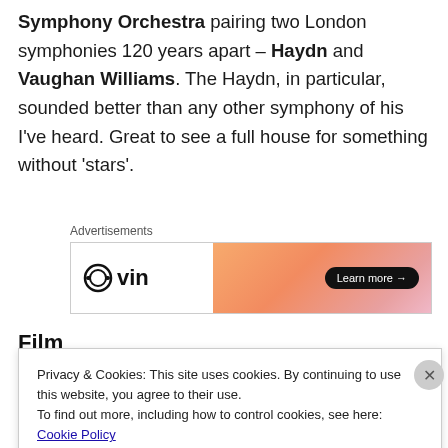Symphony Orchestra pairing two London symphonies 120 years apart – Haydn and Vaughan Williams. The Haydn, in particular, sounded better than any other symphony of his I've heard. Great to see a full house for something without 'stars'.
[Figure (other): Advertisement banner with 'Advertisements' label above. Shows a logo with headphones icon and text 'vin' on left, and a gradient orange-pink background on right with a 'Learn more →' button.]
Film
Privacy & Cookies: This site uses cookies. By continuing to use this website, you agree to their use. To find out more, including how to control cookies, see here: Cookie Policy